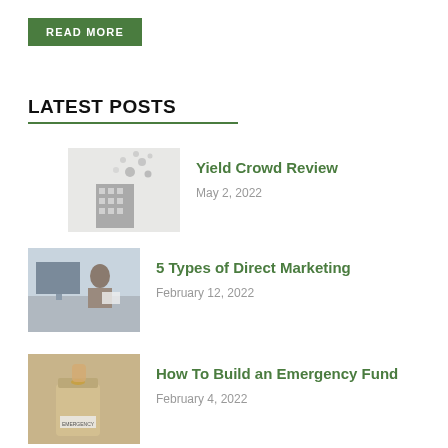READ MORE
LATEST POSTS
[Figure (illustration): Building with floating coins/money illustration in grayscale]
Yield Crowd Review
May 2, 2022
[Figure (photo): Man sitting at desk with computer, holding paper, office setting]
5 Types of Direct Marketing
February 12, 2022
[Figure (photo): Hand dropping coin into glass jar labeled EMERGENCY]
How To Build an Emergency Fund
February 4, 2022